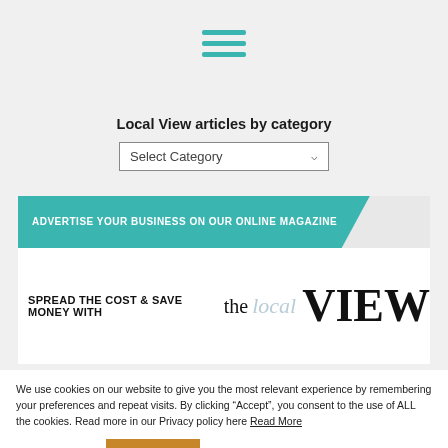[Figure (other): Hamburger menu icon — three teal horizontal bars]
Local View articles by category
[Figure (other): Select Category dropdown widget]
[Figure (other): Advertisement banner: ADVERTISE YOUR BUSINESS ON OUR ONLINE MAGAZINE / SPREAD THE COST & SAVE MONEY WITH the local VIEW — with magazine device images]
We use cookies on our website to give you the most relevant experience by remembering your preferences and repeat visits. By clicking “Accept”, you consent to the use of ALL the cookies. Read more in our Privacy policy here Read More
Cookie settings   ACCEPT